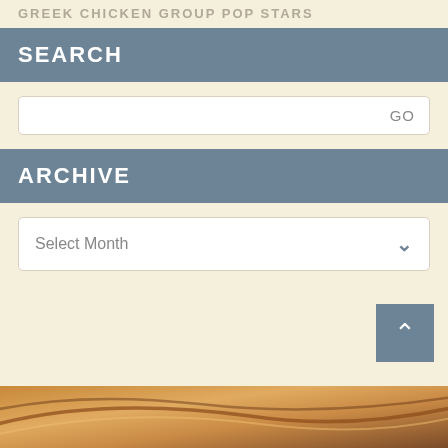GREEK CHICKEN GROUP POP STARS
SEARCH
GO
ARCHIVE
Select Month
[Figure (photo): Bottom decorative image strip showing warm brown and tan tones with diagonal swooping lines, partial view of a wooden or fabric surface.]